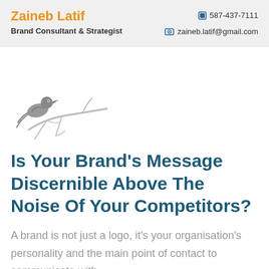Zaineb Latif | Brand Consultant & Strategist | 587-437-7111 | zaineb.latif@gmail.com
[Figure (illustration): Decorative bird perched on a branch illustration in grey tones]
Is Your Brand's Message Discernible Above The Noise Of Your Competitors?
A brand is not just a logo, it's your organisation's personality and the main point of contact to communicate with